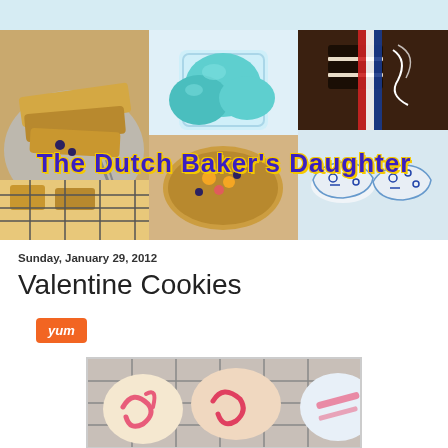[Figure (photo): Blog banner for 'The Dutch Baker's Daughter' showing three food/baking photos: crepes on a plate, teal ice cream scoops in a glass, and Dutch clogs with Oreo cookies. Overlaid title text reads 'The Dutch Baker's Daughter' in bold blue/purple with yellow outline.]
The Dutch Baker's Daughter
Sunday, January 29, 2012
Valentine Cookies
[Figure (photo): Valentine cookies decorated with pink and red swirl icing on a wire cooling rack.]